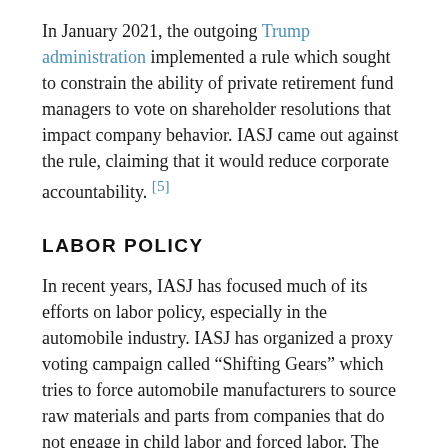In January 2021, the outgoing Trump administration implemented a rule which sought to constrain the ability of private retirement fund managers to vote on shareholder resolutions that impact company behavior. IASJ came out against the rule, claiming that it would reduce corporate accountability. [5]
LABOR POLICY
In recent years, IASJ has focused much of its efforts on labor policy, especially in the automobile industry. IASJ has organized a proxy voting campaign called “Shifting Gears” which tries to force automobile manufacturers to source raw materials and parts from companies that do not engage in child labor and forced labor. The campaign also demand that automobile manufacturers implement higher wages and stronger worker protections across their supply chains. The campaign has targeted some of the largest automobile manufacturers in the world, including the Nissan Motor